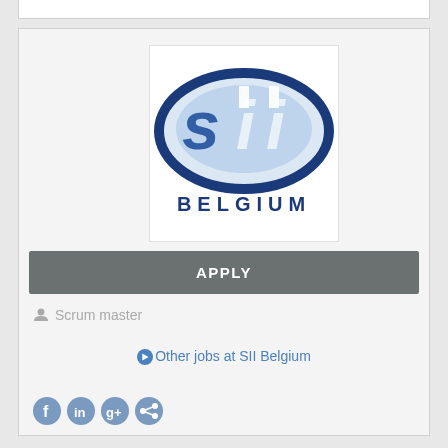[Figure (logo): SII Belgium company logo — stylized 'sii' lettering in blue tones inside an oval shape, with BELGIUM text below in spaced blue capital letters]
APPLY
Scrum master
Other jobs at SII Belgium